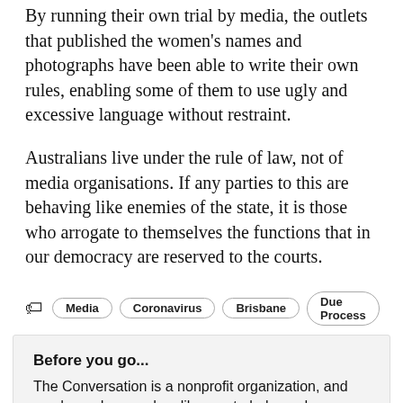By running their own trial by media, the outlets that published the women's names and photographs have been able to write their own rules, enabling some of them to use ugly and excessive language without restraint.
Australians live under the rule of law, not of media organisations. If any parties to this are behaving like enemies of the state, it is those who arrogate to themselves the functions that in our democracy are reserved to the courts.
Media · Coronavirus · Brisbane · Due Process
Before you go...
The Conversation is a nonprofit organization, and we depend on readers like you to help us do our important work of sharing ideas and